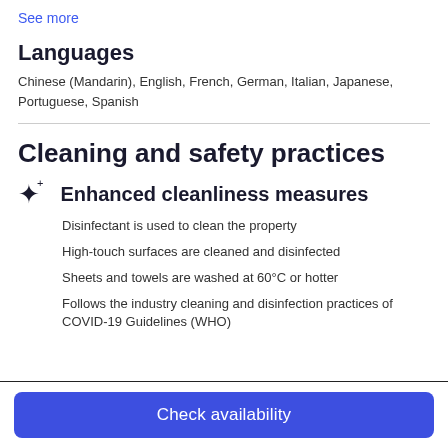See more
Languages
Chinese (Mandarin), English, French, German, Italian, Japanese, Portuguese, Spanish
Cleaning and safety practices
Enhanced cleanliness measures
Disinfectant is used to clean the property
High-touch surfaces are cleaned and disinfected
Sheets and towels are washed at 60°C or hotter
Follows the industry cleaning and disinfection practices of COVID-19 Guidelines (WHO)
Check availability